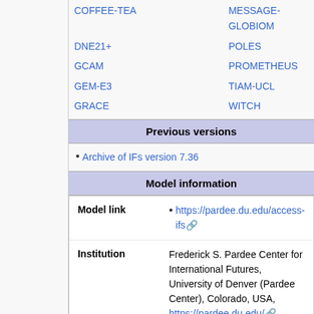COFFEE-TEA
MESSAGE-GLOBIOM
DNE21+
POLES
GCAM
PROMETHEUS
GEM-E3
TIAM-UCL
GRACE
WITCH
Previous versions
Archive of IFs version 7.36
Model information
| Field | Value |
| --- | --- |
| Model link | https://pardee.du.edu/access-ifs |
| Institution | Frederick S. Pardee Center for International Futures, University of Denver (Pardee Center), Colorado, USA, https://pardee.du.edu/. |
| Solution concept |  |
| Solution method | Dynamic recursive with annual time steps through 2100. |
| Anticipation | Myopic |
Fossil fuel consumption generates carbon emissions specific to coal, oil,